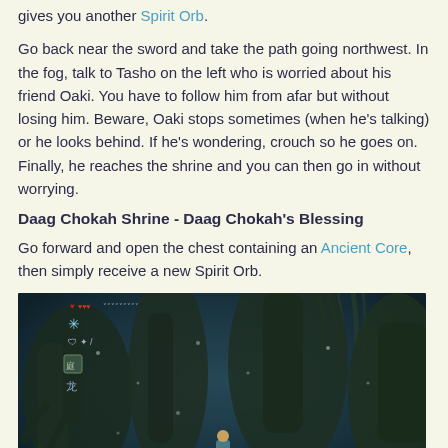gives you another Spirit Orb.
Go back near the sword and take the path going northwest. In the fog, talk to Tasho on the left who is worried about his friend Oaki. You have to follow him from afar but without losing him. Beware, Oaki stops sometimes (when he's talking) or he looks behind. If he's wondering, crouch so he goes on. Finally, he reaches the shrine and you can then go in without worrying.
Daag Chokah Shrine - Daag Chokah's Blessing
Go forward and open the chest containing an Ancient Core, then simply receive a new Spirit Orb.
[Figure (screenshot): Screenshot from The Legend of Zelda: Breath of the Wild showing Link standing on a glowing blue platform inside Daag Chokah Shrine, surrounded by dark misty environment with large tree-root structures. Game HUD visible with health, items icons on left. Bottom shows 'A Climb down' prompt and minimap in bottom right corner.]